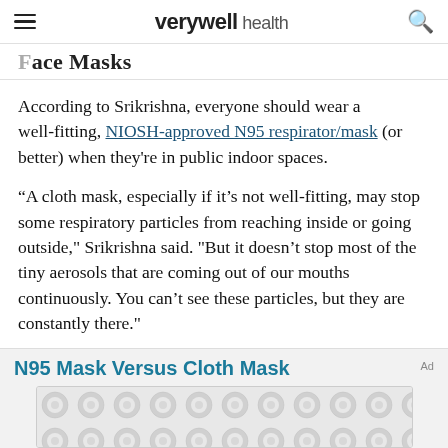verywell health
Face Masks
According to Srikrishna, everyone should wear a well-fitting, NIOSH-approved N95 respirator/mask (or better) when they're in public indoor spaces.
“A cloth mask, especially if it’s not well-fitting, may stop some respiratory particles from reaching inside or going outside," Srikrishna said. "But it doesn’t stop most of the tiny aerosols that are coming out of our mouths continuously. You can’t see these particles, but they are constantly there."
N95 Mask Versus Cloth Mask
[Figure (other): Advertisement image placeholder with repeating circular pattern]